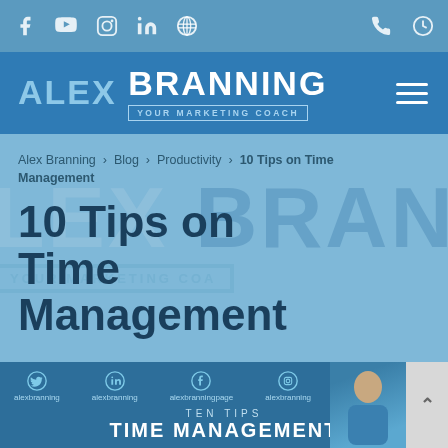Social media icons: Facebook, YouTube, Instagram, LinkedIn, WordPress | Phone, Clock
[Figure (logo): Alex Branning - Your Marketing Coach logo on blue background with hamburger menu]
Alex Branning > Blog > Productivity > 10 Tips on Time Management
10 Tips on Time Management
[Figure (screenshot): Article preview image showing social handles (alexbranning, alexbranning, alexbranningpage, alexbranning, abran1984) with person photo and TEN TIPS TIME MANAGEMENT text]